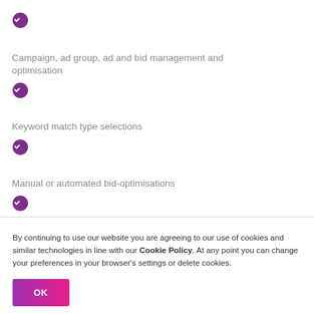✓
Campaign, ad group, ad and bid management and optimisation
✓
Keyword match type selections
✓
Manual or automated bid-optimisations
✓
By continuing to use our website you are agreeing to our use of cookies and similar technologies in line with our Cookie Policy. At any point you can change your preferences in your browser's settings or delete cookies.
OK